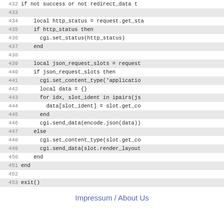[Figure (screenshot): Source code listing in Lua/similar language, lines 432-453, showing HTTP status handling, JSON request slot processing, and exit() call]
Impressum / About Us